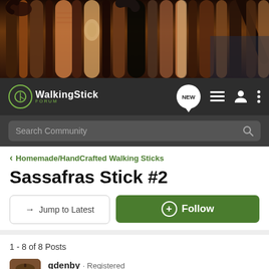[Figure (photo): Banner photo showing a collection of wooden walking sticks and canes in various styles, colors ranging from dark brown to light tan]
WalkingStick Forum — navigation bar with NEW, list, user, and menu icons, plus Search Community search bar
< Homemade/HandCrafted Walking Sticks
Sassafras Stick #2
→ Jump to Latest   + Follow
1 - 8 of 8 Posts
gdenby · Registered
Joined Apr 27, 2013 · 969 Posts